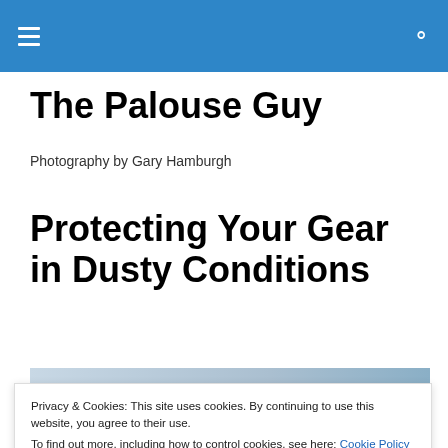The Palouse Guy
Photography by Gary Hamburgh
Protecting Your Gear in Dusty Conditions
[Figure (photo): Partial view of a landscape photograph with sky and golden field, partially obscured by cookie consent banner]
Privacy & Cookies: This site uses cookies. By continuing to use this website, you agree to their use.
To find out more, including how to control cookies, see here: Cookie Policy

Close and accept